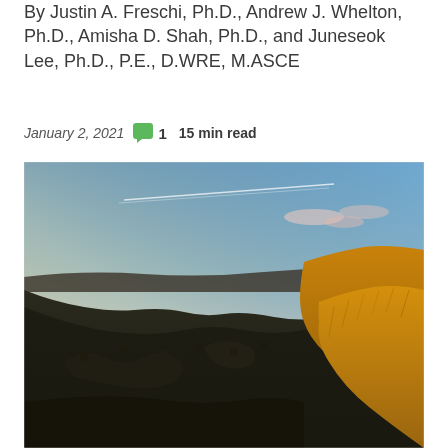By Justin A. Freschi, Ph.D., Andrew J. Whelton, Ph.D., Amisha D. Shah, Ph.D., and Juneseok Lee, Ph.D., P.E., D.WRE, M.ASCE
January 2, 2021  1  15 min read
[Figure (photo): Landscape photograph showing a dramatic canyon or gorge at dusk/dawn with golden grassy hillside in the foreground right, dark rocky terrain below, and a wide sky with thin clouds above]